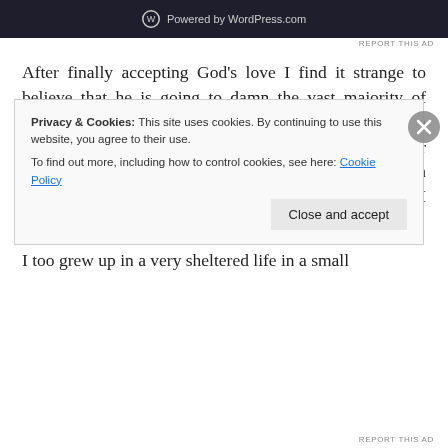[Figure (screenshot): WordPress.com advertisement banner with dark background showing WordPress logo and 'Powered by WordPress.com' text]
REPORT THIS AD
After finally accepting God's love I find it strange to believe that he is going to damn the vast majority of those he loves to an eternal anguish.  We spend less than a century on this earth in one degree of happiness or another and then billions, if not trillions of centuries in total misery and anguish. That is just not the God that I have come to know.
I too grew up in a very sheltered life in a small
Privacy & Cookies: This site uses cookies. By continuing to use this website, you agree to their use.
To find out more, including how to control cookies, see here: Cookie Policy
Close and accept
REPORT THIS AD